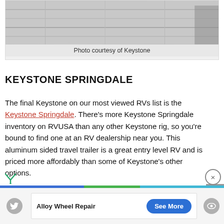[Figure (photo): Photo of RV interior flooring, light gray wood-look planks]
Photo courtesy of Keystone
KEYSTONE SPRINGDALE
The final Keystone on our most viewed RVs list is the Keystone Springdale. There's more Keystone Springdale inventory on RVUSA than any other Keystone rig, so you're bound to find one at an RV dealership near you. This aluminum sided travel trailer is a great entry level RV and is priced more affordably than some of Keystone's other options.